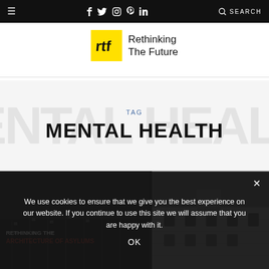≡  f  Twitter  Instagram  Pinterest  in  🔍 SEARCH
[Figure (logo): Rethinking The Future logo — yellow square with RTF monogram and text 'Rethinking The Future']
TAG
MENTAL HEALTH
We use cookies to ensure that we give you the best experience on our website. If you continue to use this site we will assume that you are happy with it.
OK
[Figure (photo): Article thumbnail: dark image with text overlay 'RETHINKING THE ARCHITECTURE OF ASYLUMS' with building photograph in background]